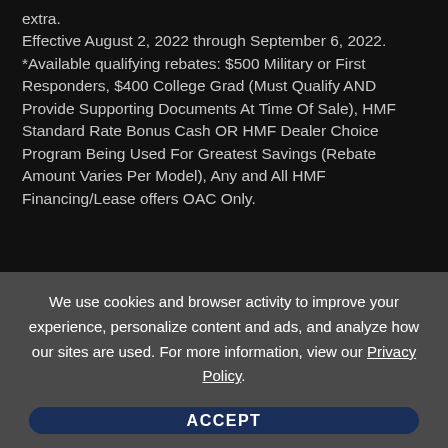extra. Effective August 2, 2022 through September 6, 2022. *Available qualifying rebates: $500 Military or First Responders, $400 College Grad (Must Qualify AND Provide Supporting Documents At Time Of Sale), HMF Standard Rate Bonus Cash OR HMF Dealer Choice Program Being Used For Greatest Savings (Rebate Amount Varies Per Model), Any and All HMF Financing/Lease offers OAC Only.
We use cookies and browser activity to improve your experience, personalize content and ads, and analyze how our sites are used. For more information, view our Privacy Policy.
ACCEPT